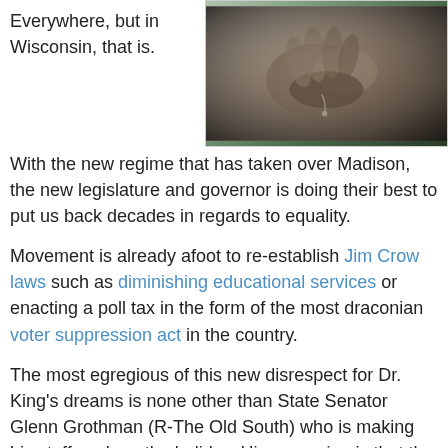Everywhere, but in Wisconsin, that is.
[Figure (photo): Close-up photo of hands, dark/moody tones with vignette]
With the new regime that has taken over Madison, the new legislature and governor is doing their best to put us back decades in regards to equality.
Movement is already afoot to re-establish Jim Crow laws such as diminishing educational services or enacting a poll tax in the form of the most draconian voter suppression act in the country.
The most egregious of this new disrespect for Dr. King's dreams is none other than State Senator Glenn Grothman (R-The Old South) who is making his staff work on the holiday. His reasoning is that the holiday is "an insult" to tax payers, and that the holiday, which is named after King, mind you, is not an honor to him.
Funny, I don't recall him saying that about any other holiday